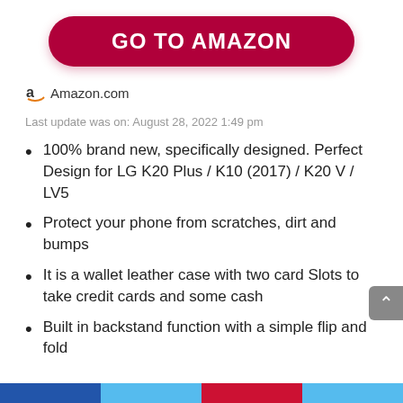[Figure (other): Red rounded button with text GO TO AMAZON in white bold capitals]
Amazon.com
Last update was on: August 28, 2022 1:49 pm
100% brand new, specifically designed. Perfect Design for LG K20 Plus / K10 (2017) / K20 V / LV5
Protect your phone from scratches, dirt and bumps
It is a wallet leather case with two card Slots to take credit cards and some cash
Built in backstand function with a simple flip and fold